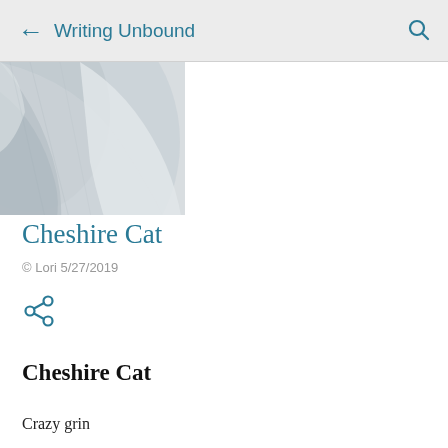← Writing Unbound 🔍
[Figure (photo): Partial photo of a cat, gray and white fur, close-up, top-left corner area]
Cheshire Cat
© Lori 5/27/2019
[Figure (other): Share icon (less-than style share symbol)]
Cheshire Cat
Crazy grin